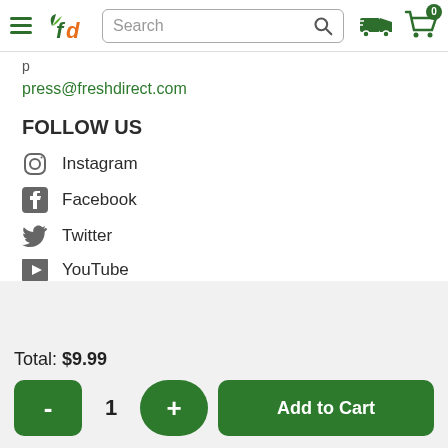FreshDirect navigation bar with hamburger menu, fd logo, search box, delivery icon, cart (0)
press@freshdirect.com
FOLLOW US
Instagram
Facebook
Twitter
YouTube
Total: $9.99
- 1 + Add to Cart